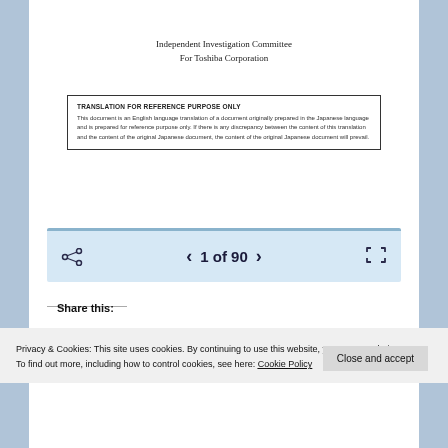Independent Investigation Committee
For Toshiba Corporation
TRANSLATION FOR REFERENCE PURPOSE ONLY
This document is an English language translation of a document originally prepared in the Japanese language and is prepared for reference purpose only. If there is any discrepancy between the content of this translation and the content of the original Japanese document, the content of the original Japanese document will prevail.
[Figure (screenshot): Document navigation bar showing page 1 of 90 with share icon, previous/next arrows, and expand icon on a light blue background]
Share this:
Privacy & Cookies: This site uses cookies. By continuing to use this website, you agree to their use.
To find out more, including how to control cookies, see here: Cookie Policy
Close and accept